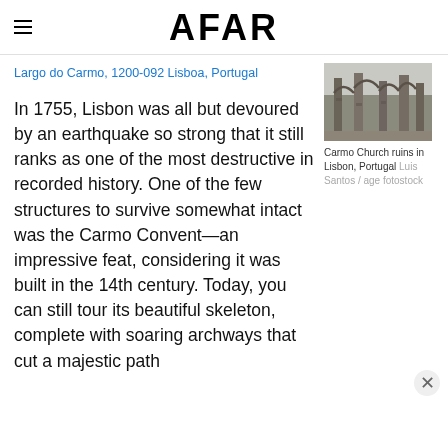AFAR
Largo do Carmo, 1200-092 Lisboa, Portugal
[Figure (photo): Carmo Church ruins in Lisbon, Portugal — photograph showing Gothic stone arches]
Carmo Church ruins in Lisbon, Portugal Luis Santos / age fotostock
In 1755, Lisbon was all but devoured by an earthquake so strong that it still ranks as one of the most destructive in recorded history. One of the few structures to survive somewhat intact was the Carmo Convent—an impressive feat, considering it was built in the 14th century. Today, you can still tour its beautiful skeleton, complete with soaring archways that cut a majestic path